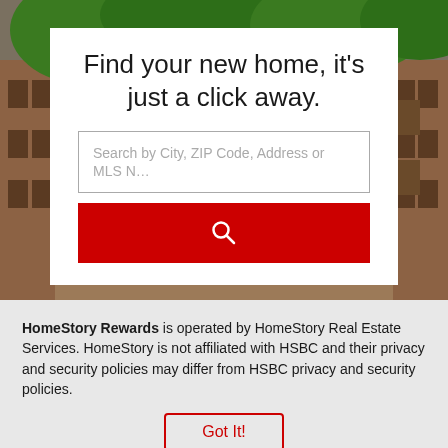[Figure (photo): Background photo of brownstone building with green trees, serving as hero background for a real estate search page]
Find your new home, it’s just a click away.
Search by City, ZIP Code, Address or MLS N…
HomeStory Rewards is operated by HomeStory Real Estate Services. HomeStory is not affiliated with HSBC and their privacy and security policies may differ from HSBC privacy and security policies.
Got It!